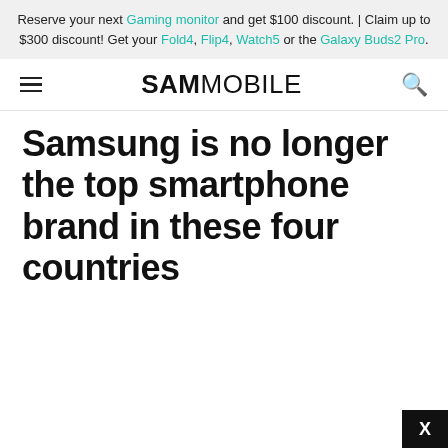Reserve your next Gaming monitor and get $100 discount. | Claim up to $300 discount! Get your Fold4, Flip4, Watch5 or the Galaxy Buds2 Pro.
SAMMOBILE
Samsung is no longer the top smartphone brand in these four countries